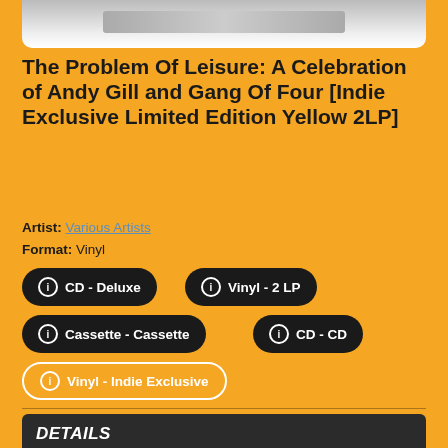[Figure (photo): Partial album cover image at top, partially cropped]
The Problem Of Leisure: A Celebration of Andy Gill and Gang Of Four [Indie Exclusive Limited Edition Yellow 2LP]
Artist: Various Artists
Format: Vinyl
CD - Deluxe
Vinyl - 2 LP
Cassette - Cassette
CD - CD
Vinyl - Indie Exclusive
DETAILS
Label: Gill Music
Rel. Date: 06/18/2021
UPC: 192641604119